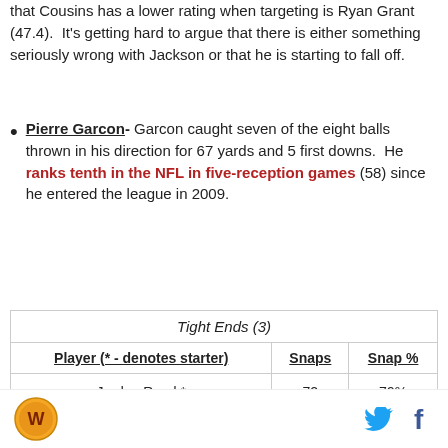that Cousins has a lower rating when targeting is Ryan Grant (47.4). It's getting hard to argue that there is either something seriously wrong with Jackson or that he is starting to fall off.
Pierre Garcon- Garcon caught seven of the eight balls thrown in his direction for 67 yards and 5 first downs. He ranks tenth in the NFL in five-reception games (58) since he entered the league in 2009.
| Player (* - denotes starter) | Snaps | Snap % |
| --- | --- | --- |
| Jordan Reed * | 72 | 79% |
Logo | Twitter | Facebook